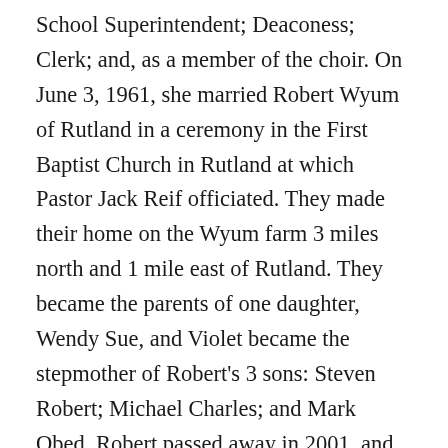School Superintendent; Deaconess; Clerk; and, as a member of the choir. On June 3, 1961, she married Robert Wyum of Rutland in a ceremony in the First Baptist Church in Rutland at which Pastor Jack Reif officiated. They made their home on the Wyum farm 3 miles north and 1 mile east of Rutland. They became the parents of one daughter, Wendy Sue, and Violet became the stepmother of Robert's 3 sons: Steven Robert; Michael Charles; and Mark Obed. Robert passed away in 2001, and Violet continued to make her home on the farm until she moved to Four Seasons Villas Assisted Living Center in 2019. From the time she retired from teaching until she moved to Four Seasons Villas, Violet served as the “go-fer” on the farm, making parts runs and